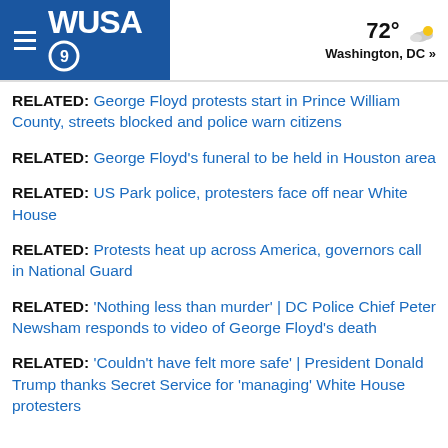WUSA9 | 72° Washington, DC »
RELATED: George Floyd protests start in Prince William County, streets blocked and police warn citizens
RELATED: George Floyd's funeral to be held in Houston area
RELATED: US Park police, protesters face off near White House
RELATED: Protests heat up across America, governors call in National Guard
RELATED: 'Nothing less than murder' | DC Police Chief Peter Newsham responds to video of George Floyd's death
RELATED: 'Couldn't have felt more safe' | President Donald Trump thanks Secret Service for 'managing' White House protesters